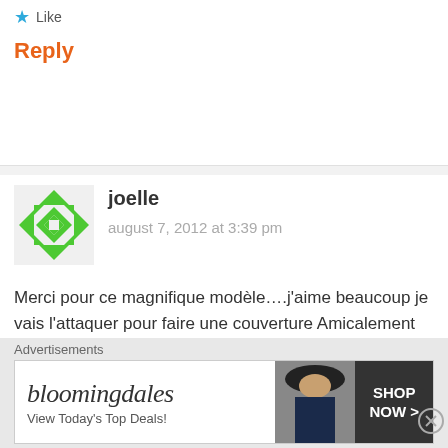Like
Reply
joelle
august 7, 2012 at 3:39 pm
Merci pour ce magnifique modèle….j'aime beaucoup je vais l'attaquer pour faire une couverture Amicalement
Bonne continuation
Like
Reply
Advertisements
[Figure (other): Bloomingdale's advertisement banner: 'View Today's Top Deals!' with a woman in a hat and SHOP NOW > button]